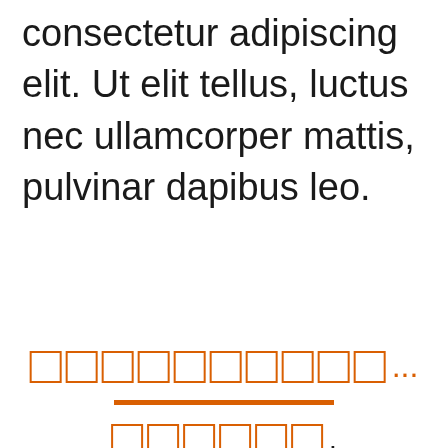consectetur adipiscing elit. Ut elit tellus, luctus nec ullamcorper mattis, pulvinar dapibus leo.
□□□□□□□□□□...
□□□□□□.